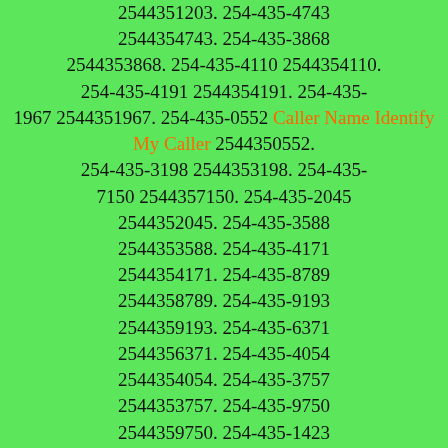2544351203. 254-435-4743 2544354743. 254-435-3868 2544353868. 254-435-4110 2544354110. 254-435-4191 2544354191. 254-435-1967 2544351967. 254-435-0552 Caller Name Identify My Caller 2544350552. 254-435-3198 2544353198. 254-435-7150 2544357150. 254-435-2045 2544352045. 254-435-3588 2544353588. 254-435-4171 2544354171. 254-435-8789 2544358789. 254-435-9193 2544359193. 254-435-6371 2544356371. 254-435-4054 2544354054. 254-435-3757 2544353757. 254-435-9750 2544359750. 254-435-1423 2544351423. 254-435-4844 2544354844. 254-435-4529 2544354529. 254-435-2412 2544352412. 254-435-7932 2544357932. 254-435-9945 2544359945. 254-435-1667 2544351667. 254-435-3022 2544353022. 254-435-8857 2544358857. 254-435-1996